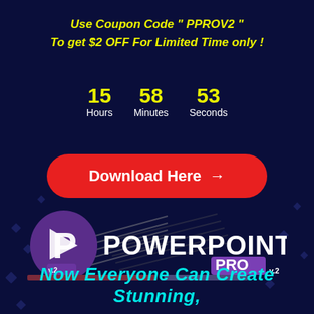Use Coupon Code " PPROV2 " To get $2 OFF For Limited Time only !
15 Hours 58 Minutes 53 Seconds
Download Here →
[Figure (logo): PowerPoint Pro V.2 logo with purple P icon and stylized text on dark blue background]
Now Everyone Can Create Stunning,